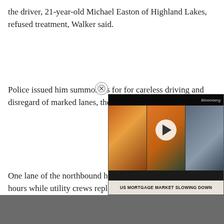the driver, 21-year-old Michael Easton of Highland Lakes, refused treatment, Walker said.
Police issued him summonses for for careless driving and disregard of marked lanes, the sergeant said.
One lane of the northbound highway was closed for several hours while utility crews replaced the pole.
[Figure (screenshot): Bloomberg TV video widget showing three news anchors/guests with a play button overlay and chyron reading 'US MORTGAGE MARKET SLOWING DOWN']